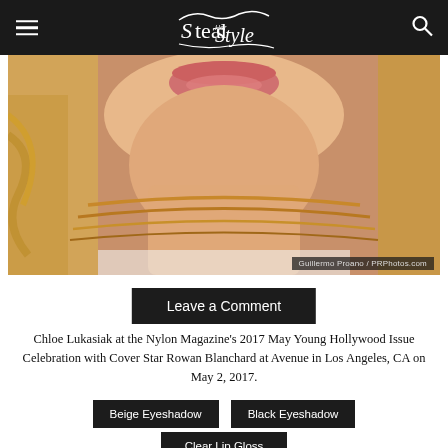Steal Her Style
[Figure (photo): Close-up photo of Chloe Lukasiak's lower face showing lips and neck with gold choker necklace, blonde hair visible on sides. Photo credit: Guillermo Proano / PRPhotos.com]
Leave a Comment
Chloe Lukasiak at the Nylon Magazine’s 2017 May Young Hollywood Issue Celebration with Cover Star Rowan Blanchard at Avenue in Los Angeles, CA on May 2, 2017.
Beige Eyeshadow
Black Eyeshadow
Clear Lip Gloss